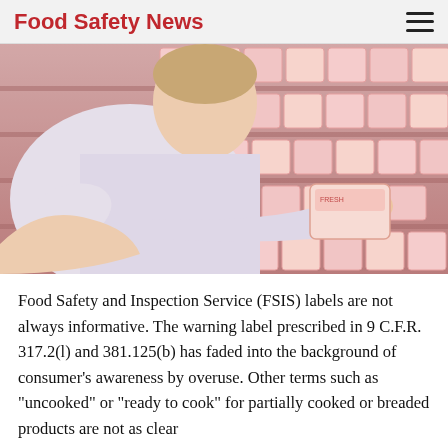Food Safety News
[Figure (photo): A man in a white shirt examining a packaged meat product in a grocery store meat section, with rows of pink packaged meats visible on shelves behind him.]
Food Safety and Inspection Service (FSIS) labels are not always informative. The warning label prescribed in 9 C.F.R. 317.2(l) and 381.125(b) has faded into the background of consumer’s awareness by overuse. Other terms such as “uncooked” or “ready to cook” for partially cooked or breaded products are not as clear